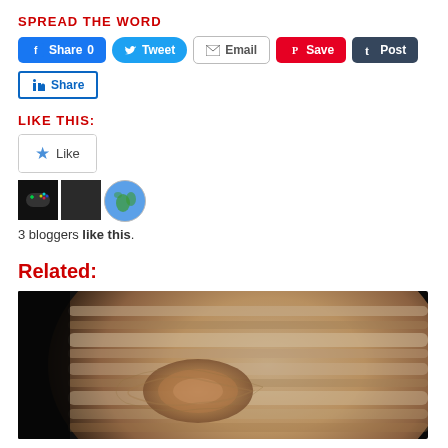SPREAD THE WORD
[Figure (screenshot): Social sharing buttons: Facebook Share 0, Tweet, Email, Save (Pinterest), Post (Tumblr), LinkedIn Share]
LIKE THIS:
[Figure (screenshot): Like button widget with 3 blogger avatars (gamepad avatar, dark avatar, earth/globe avatar). 3 bloggers like this.]
3 bloggers like this.
Related:
[Figure (photo): Close-up photo of Jupiter showing the Great Red Spot and swirling cloud bands in beige, brown and white tones against a dark background.]